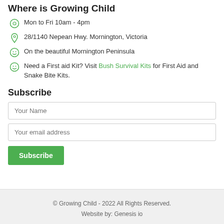Where is Growing Child
Mon to Fri 10am - 4pm
28/1140 Nepean Hwy. Mornington, Victoria
On the beautiful Mornington Peninsula
Need a First aid Kit? Visit Bush Survival Kits for First Aid and Snake Bite Kits.
Subscribe
Your Name
Your email address
Subscribe
© Growing Child - 2022 All Rights Reserved.
Website by: Genesis io